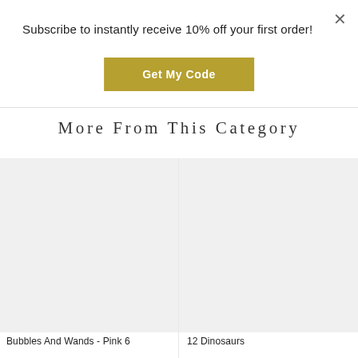Subscribe to instantly receive 10% off your first order!
[Figure (other): Gold/olive colored button labeled 'Get My Code']
More From This Category
[Figure (photo): Product image placeholder for Bubbles And Wands - Pink 6]
Bubbles And Wands - Pink 6
[Figure (photo): Product image placeholder for 12 Dinosaurs]
12 Dinosaurs